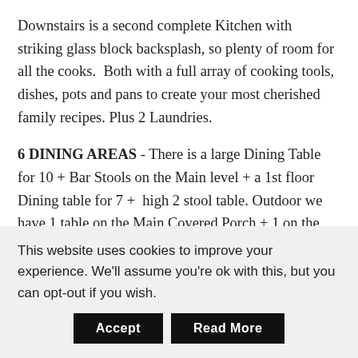Downstairs is a second complete Kitchen with striking glass block backsplash, so plenty of room for all the cooks.  Both with a full array of cooking tools, dishes, pots and pans to create your most cherished family recipes. Plus 2 Laundries.
6 DINING AREAS - There is a large Dining Table for 10 + Bar Stools on the Main level + a 1st floor Dining table for 7 +  high 2 stool table. Outdoor we have 1 table on the Main Covered Porch + 1 on the open Patio & 1 on the
This website uses cookies to improve your experience. We'll assume you're ok with this, but you can opt-out if you wish.